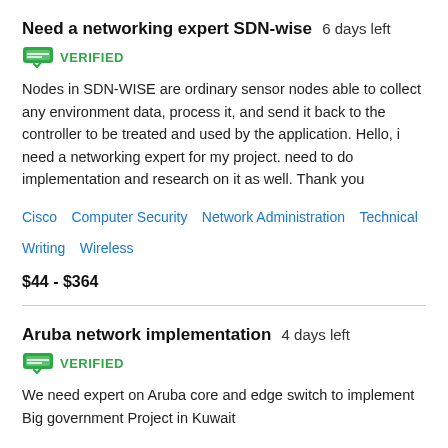Need a networking expert SDN-wise  6 days left
[Figure (infographic): Green verified badge icon with checkmark and VERIFIED text in green]
Nodes in SDN-WISE are ordinary sensor nodes able to collect any environment data, process it, and send it back to the controller to be treated and used by the application. Hello, i need a networking expert for my project. need to do implementation and research on it as well. Thank you
Cisco   Computer Security   Network Administration   Technical Writing   Wireless
$44 - $364
Aruba network implementation  4 days left
[Figure (infographic): Green verified badge icon with checkmark and VERIFIED text in green]
We need expert on Aruba core and edge switch to implement Big government Project in Kuwait
Network Administration   Network Security   Wireless